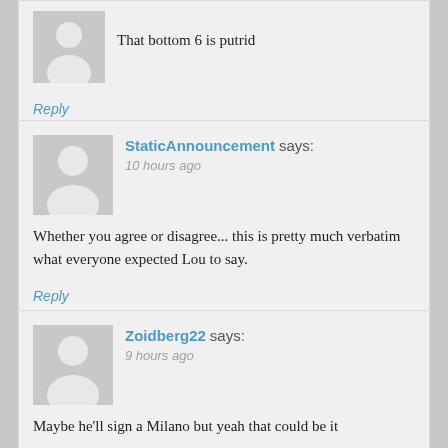That bottom 6 is putrid
Reply
StaticAnnouncement says:
10 hours ago
Whether you agree or disagree... this is pretty much verbatim what everyone expected Lou to say.
Reply
Zoidberg22 says:
9 hours ago
Maybe he'll sign a Milano but yeah that could be it
Reply